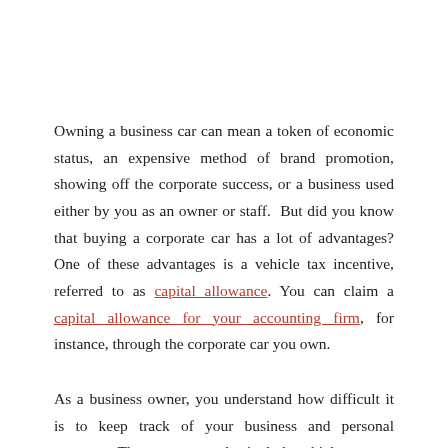Owning a business car can mean a token of economic status, an expensive method of brand promotion, showing off the corporate success, or a business used either by you as an owner or staff.  But did you know that buying a corporate car has a lot of advantages? One of these advantages is a vehicle tax incentive, referred to as capital allowance. You can claim a capital allowance for your accounting firm, for instance, through the corporate car you own.
As a business owner, you understand how difficult it is to keep track of your business and personal expenses. These expenses also include vehicles